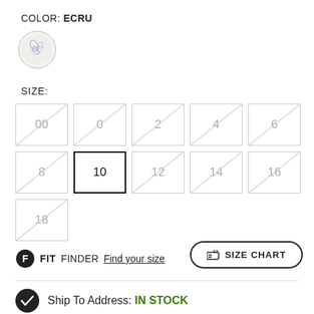COLOR: ECRU
[Figure (illustration): Circular color swatch showing an ecru/cream fabric with a floral or decorative pattern, bordered by a thin circle]
SIZE:
Size buttons: 00, 0, 2, 4, 6 (row 1, all with diagonal slash indicating unavailable); 8, 10 (selected), 12, 14, 16 (row 2, all except 10 with diagonal slash); 18 (row 3, with diagonal slash)
FIT FINDER Find your size
SIZE CHART
Ship To Address: IN STOCK